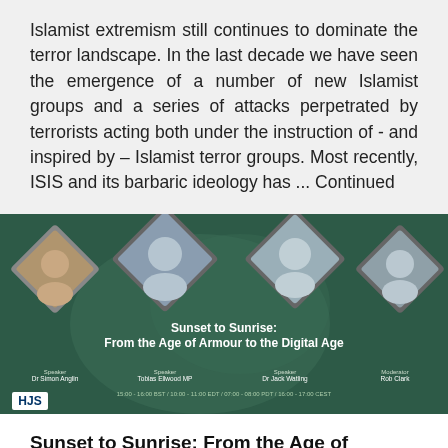Islamist extremism still continues to dominate the terror landscape. In the last decade we have seen the emergence of a number of new Islamist groups and a series of attacks perpetrated by terrorists acting both under the instruction of - and inspired by – Islamist terror groups. Most recently, ISIS and its barbaric ideology has ... Continued
[Figure (photo): Event banner for 'Sunset to Sunrise: From the Age of Armour to the Digital Age' webinar. Shows four male speakers in diamond-shaped portrait frames on a dark green background with map silhouette. Speakers listed: Dr Simon Anglin (Speaker), Tobias Ellwood MP (Speaker), Dr Jack Watling (Speaker), Rob Clark (Moderator). Time: 15:00-16:00 BST / 10:00-11:00 EDT / 07:00-08:00 PDT / 16:00-17:00 CEST. HJS logo in bottom left.]
Sunset to Sunrise: From the Age of Armour to the Digital Age